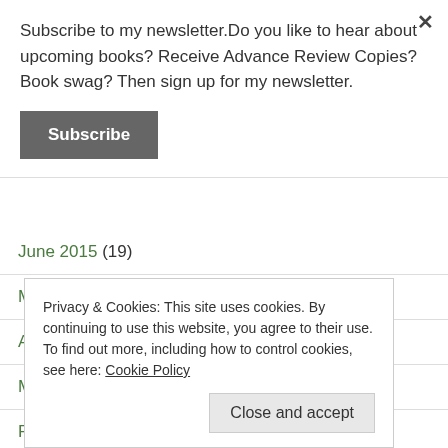Subscribe to my newsletter.Do you like to hear about upcoming books? Receive Advance Review Copies? Book swag? Then sign up for my newsletter.
Subscribe
June 2015 (19)
May 2015 (10)
April 2015 (32)
March 2015 (11)
Privacy & Cookies: This site uses cookies. By continuing to use this website, you agree to their use. To find out more, including how to control cookies, see here: Cookie Policy
Close and accept